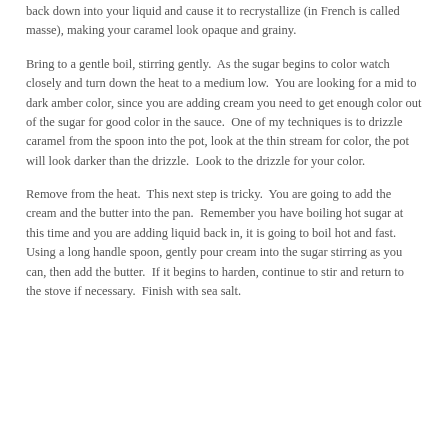back down into your liquid and cause it to recrystallize (in French is called masse), making your caramel look opaque and grainy.
Bring to a gentle boil, stirring gently.  As the sugar begins to color watch closely and turn down the heat to a medium low.  You are looking for a mid to dark amber color, since you are adding cream you need to get enough color out of the sugar for good color in the sauce.  One of my techniques is to drizzle caramel from the spoon into the pot, look at the thin stream for color, the pot will look darker than the drizzle.  Look to the drizzle for your color.
Remove from the heat.  This next step is tricky.  You are going to add the cream and the butter into the pan.  Remember you have boiling hot sugar at this time and you are adding liquid back in, it is going to boil hot and fast.  Using a long handle spoon, gently pour cream into the sugar stirring as you can, then add the butter.  If it begins to harden, continue to stir and return to the stove if necessary.  Finish with sea salt.